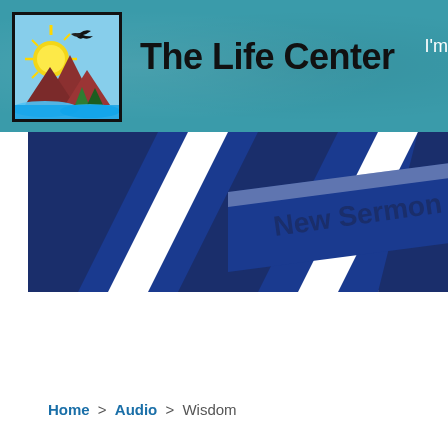[Figure (logo): The Life Center logo: sun rising over mountains with an eagle in flight, river in foreground, stylized landscape illustration in a square bordered frame]
The Life Center
[Figure (illustration): Banner image with dark navy and white diagonal stripes and the text 'New Sermon Se...' (partially visible) on a ribbon/banner element]
Home > Audio > Wisdom